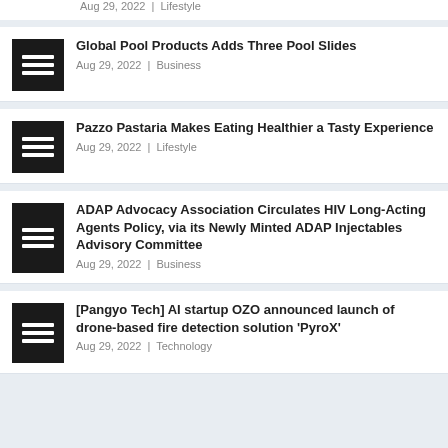Need To Know — Aug 29, 2022 | Lifestyle
Global Pool Products Adds Three Pool Slides — Aug 29, 2022 | Business
Pazzo Pastaria Makes Eating Healthier a Tasty Experience — Aug 29, 2022 | Lifestyle
ADAP Advocacy Association Circulates HIV Long-Acting Agents Policy, via its Newly Minted ADAP Injectables Advisory Committee — Aug 29, 2022 | Business
[Pangyo Tech] AI startup OZO announced launch of drone-based fire detection solution 'PyroX' — Aug 29, 2022 | Technology